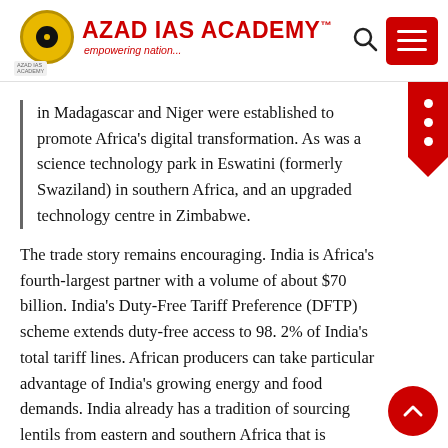[Figure (logo): Azad IAS Academy logo with circular emblem and red text reading 'AZAD IAS ACADEMY™ empowering nation...']
in Madagascar and Niger were established to promote Africa's digital transformation. As was a science technology park in Eswatini (formerly Swaziland) in southern Africa, and an upgraded technology centre in Zimbabwe.
The trade story remains encouraging. India is Africa's fourth-largest partner with a volume of about $70 billion. India's Duty-Free Tariff Preference (DFTP) scheme extends duty-free access to 98. 2% of India's total tariff lines. African producers can take particular advantage of India's growing energy and food demands. India already has a tradition of sourcing lentils from eastern and southern Africa that is expanding. India is also Africa's fifth-largest investor, with a cumulative commitment of $70. 7 billion.